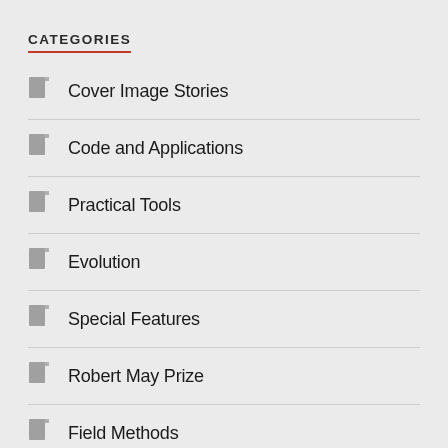CATEGORIES
Cover Image Stories
Code and Applications
Practical Tools
Evolution
Special Features
Robert May Prize
Field Methods
International Days
Black History Month